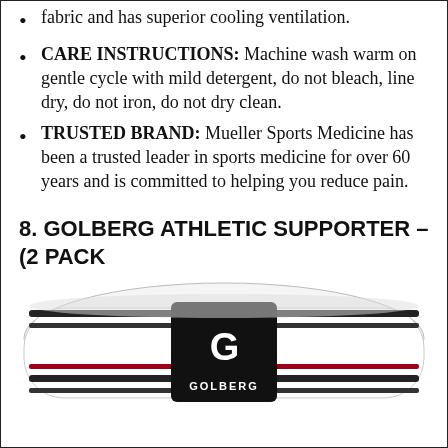fabric and has superior cooling ventilation.
CARE INSTRUCTIONS: Machine wash warm on gentle cycle with mild detergent, do not bleach, line dry, do not iron, do not dry clean.
TRUSTED BRAND: Mueller Sports Medicine has been a trusted leader in sports medicine for over 60 years and is committed to helping you reduce pain.
8. GOLBERG ATHLETIC SUPPORTER – (2 PACK
[Figure (photo): Photo of a Golberg athletic supporter/jockstrap waistband, white with black and red stripes, featuring the Golberg logo on a black patch in the center.]